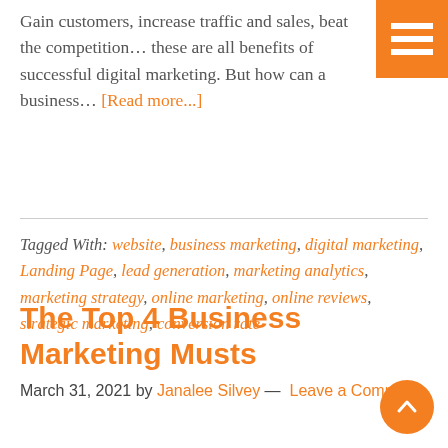Gain customers, increase traffic and sales, beat the competition… these are all benefits of successful digital marketing. But how can a business… [Read more...]
Tagged With: website, business marketing, digital marketing, Landing Page, lead generation, marketing analytics, marketing strategy, online marketing, online reviews, strategic marketing, conversion rate
The Top 4 Business Marketing Musts
March 31, 2021 by Janalee Silvey — Leave a Comment